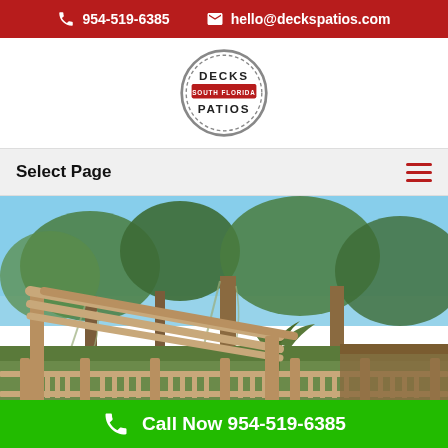☎ 954-519-6385   ✉ hello@deckspatios.com
[Figure (logo): Decks South Florida Patios circular badge logo in gray and red]
Select Page
[Figure (photo): Outdoor wooden pergola/deck with railings surrounded by large trees, palms, and blue sky]
Call Now 954-519-6385